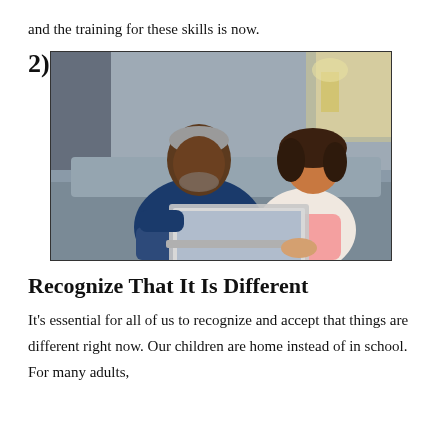and the training for these skills is now.
2)
[Figure (photo): An adult man and a young girl sitting on a couch together looking at a laptop computer.]
Recognize That It Is Different
It’s essential for all of us to recognize and accept that things are different right now. Our children are home instead of in school. For many adults,